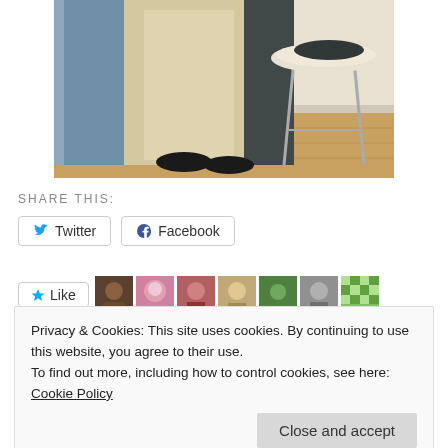[Figure (photo): Photo of long skirts/gowns in beige and blue hanging near a modern chair with a dark cushion, on a wooden floor background]
SHARE THIS:
Twitter
Facebook
Like
Privacy & Cookies: This site uses cookies. By continuing to use this website, you agree to their use.
To find out more, including how to control cookies, see here: Cookie Policy
Close and accept
Redingote (Part 1)
Redingote —